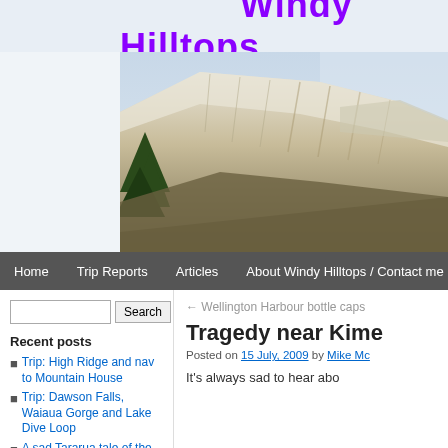Windy Hilltops
[Figure (photo): Mountain landscape with snow-dusted ridgeline and trees in foreground against a pale sky]
Home | Trip Reports | Articles | About Windy Hilltops / Contact me
Search
Recent posts
Trip: High Ridge and nav to Mountain House
Trip: Dawson Falls, Waiaua Gorge and Lake Dive Loop
A sad Tararua tale of the usual
← Wellington Harbour bottle caps
Tragedy near Kime
Posted on 15 July, 2009 by Mike Mc
It's always sad to hear abo